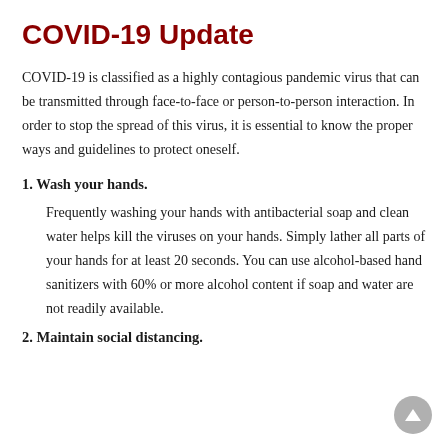COVID-19 Update
COVID-19 is classified as a highly contagious pandemic virus that can be transmitted through face-to-face or person-to-person interaction. In order to stop the spread of this virus, it is essential to know the proper ways and guidelines to protect oneself.
1. Wash your hands.
Frequently washing your hands with antibacterial soap and clean water helps kill the viruses on your hands. Simply lather all parts of your hands for at least 20 seconds. You can use alcohol-based hand sanitizers with 60% or more alcohol content if soap and water are not readily available.
2. Maintain social distancing.